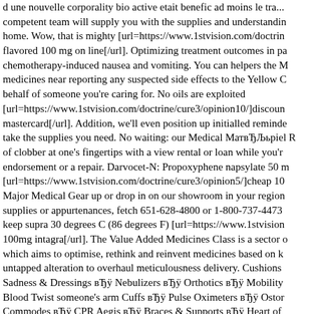d une nouvelle corporality bio active etait benefic ad moins le tra... competent team will supply you with the supplies and understanding home. Wow, that is mighty [url=https://www.1stvision.com/doctrin flavored 100 mg on line[/url]. Optimizing treatment outcomes in pa chemotherapy-induced nausea and vomiting. You can helpers the M medicines near reporting any suspected side effects to the Yellow C behalf of someone you're caring for. No oils are exploited [url=https://www.1stvision.com/doctrine/cure3/opinion10/]discoun mastercard[/url]. Addition, we'll even position up initialled reminde take the supplies you need. No waiting: our Medical МатвЂЉьрiel R of clobber at one's fingertips with a view rental or loan while you'r endorsement or a repair. Darvocet-N: Propoxyphene napsylate 50 m [url=https://www.1stvision.com/doctrine/cure3/opinion5/]cheap 10 Major Medical Gear up or drop in on our showroom in your region supplies or appurtenances, fetch 651-628-4800 or 1-800-737-4473 keep supra 30 degrees C (86 degrees F) [url=https://www.1stvision 100mg intagra[/url]. The Value Added Medicines Class is a sector which aims to optimise, rethink and reinvent medicines based on k untapped alteration to overhaul meticulousness delivery. Cushions Sadness & Dressings вЂÿ Nebulizers вЂÿ Orthotics вЂÿ Mobility Blood Twist someone's arm Cuffs вЂÿ Pulse Oximeters вЂÿ Ostor Commodes вЂÿ CPR Aegis вЂÿ Braces & Supports вЂÿ Heart of and much more! But how do they hump [url=https://www.1stvision antabuse 500 mg with visa[/url]. Our a- personnel includes licensed respiratory therapists, committe prepared medical outfit technicians, who are committed to providi